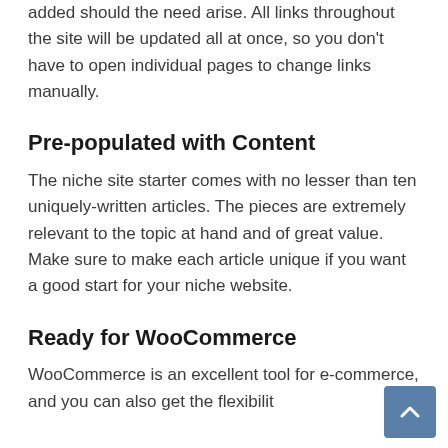added should the need arise. All links throughout the site will be updated all at once, so you don't have to open individual pages to change links manually.
Pre-populated with Content
The niche site starter comes with no lesser than ten uniquely-written articles. The pieces are extremely relevant to the topic at hand and of great value. Make sure to make each article unique if you want a good start for your niche website.
Ready for WooCommerce
WooCommerce is an excellent tool for e-commerce, and you can also get the flexibility